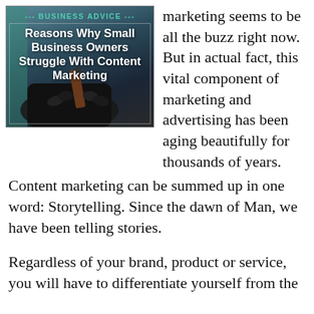[Figure (illustration): Blog post thumbnail image with dark teal background showing a hand holding a pen/marker, with text overlay reading '--- BUSINESS ADVICE ---' and 'Reasons Why Small Business Owners Struggle With Content Marketing']
marketing seems to be all the buzz right now. But in actual fact, this vital component of marketing and advertising has been aging beautifully for thousands of years. Content marketing can be summed up in one word: Storytelling. Since the dawn of Man, we have been telling stories.
Regardless of your brand, product or service, you will have to differentiate yourself from the